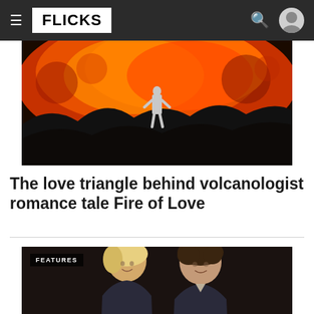FLICKS
[Figure (photo): A person standing in front of a glowing lava wall, dramatic red and orange volcanic rock fills the background]
The love triangle behind volcanologist romance tale Fire of Love
[Figure (photo): A smiling blonde woman and a man with curly dark hair, both dressed formally, labeled FEATURES]